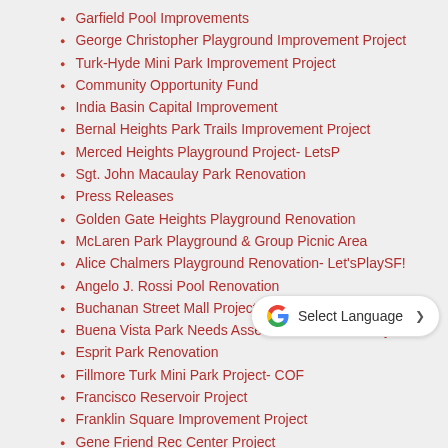Garfield Pool Improvements
George Christopher Playground Improvement Project
Turk-Hyde Mini Park Improvement Project
Community Opportunity Fund
India Basin Capital Improvement
Bernal Heights Park Trails Improvement Project
Merced Heights Playground Project- LetsP…
Sgt. John Macaulay Park Renovation
Press Releases
Golden Gate Heights Playground Renovation
McLaren Park Playground & Group Picnic Area
Alice Chalmers Playground Renovation- Let'sPlaySF!
Angelo J. Rossi Pool Renovation
Buchanan Street Mall Project
Buena Vista Park Needs Assessment & Cost Analysis
Esprit Park Renovation
Fillmore Turk Mini Park Project- COF
Francisco Reservoir Project
Franklin Square Improvement Project
Gene Friend Rec Center Project
Golden Gate Park Middle Lake Rehabilitation
Golden Gate Park Stanyan Edge Project
Golden Gate Park Tennis Center Project